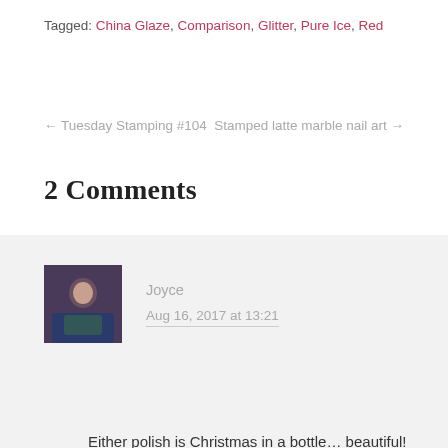Tagged: China Glaze, Comparison, Glitter, Pure Ice, Red
← Tuesday Stamping #104    Stamped latte marble nail art →
2 Comments
Joyce
Aug 16, 2017 at 13:21
Either polish is Christmas in a bottle… beautiful! Pure Ice isn't available over here but I own Ruby Pumps so I'm good ☺